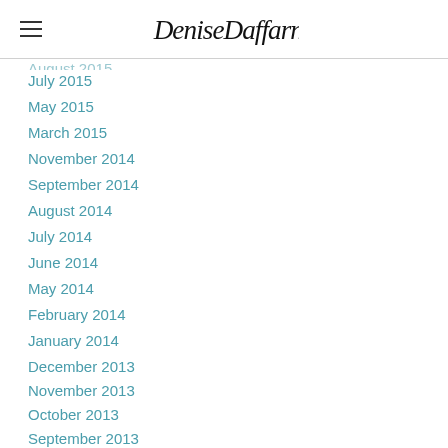Denise Daffarn
July 2015
May 2015
March 2015
November 2014
September 2014
August 2014
July 2014
June 2014
May 2014
February 2014
January 2014
December 2013
November 2013
October 2013
September 2013
August 2013
July 2013